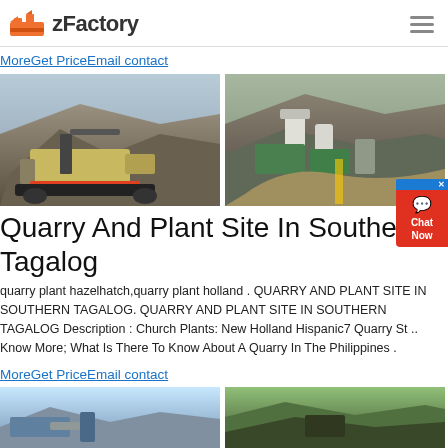zFactory
MoreGet PriceEmail contact
[Figure (photo): Two quarry/plant site photos side by side: left shows a tracked crushing machine at a quarry, right shows an industrial plant with silos on a hillside.]
Quarry And Plant Site In Southern Tagalog
quarry plant hazelhatch,quarry plant holland . QUARRY AND PLANT SITE IN SOUTHERN TAGALOG. QUARRY AND PLANT SITE IN SOUTHERN TAGALOG Description : Church Plants: New Holland Hispanic7 Quarry St .. Know More; What Is There To Know About A Quarry In The Philippines .
MoreGet PriceEmail contact
[Figure (photo): Two more quarry/plant site photos side by side at the bottom of the page.]